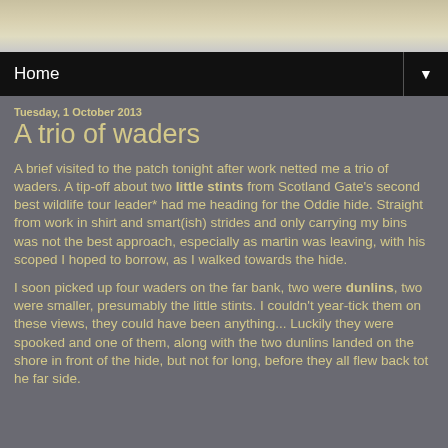[Figure (photo): Tan/beige and grey mottled background image, likely a landscape or sky photo]
Home ▼
Tuesday, 1 October 2013
A trio of waders
A brief visited to the patch tonight after work netted me a trio of waders. A tip-off about two little stints from Scotland Gate's second best wildlife tour leader* had me heading for the Oddie hide. Straight from work in shirt and smart(ish) strides and only carrying my bins was not the best approach, especially as martin was leaving, with his scoped I hoped to borrow, as I walked towards the hide.
I soon picked up four waders on the far bank, two were dunlins, two were smaller, presumably the little stints. I couldn't year-tick them on these views, they could have been anything... Luckily they were spooked and one of them, along with the two dunlins landed on the shore in front of the hide, but not for long, before they all flew back tot he far side.